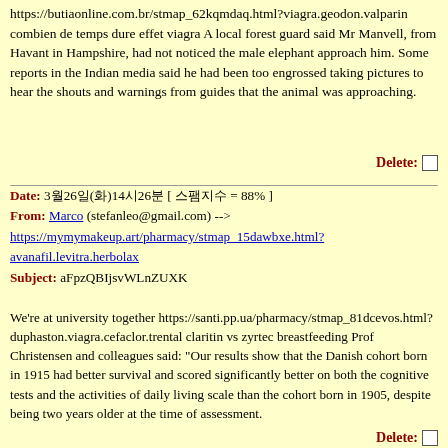https://butiaonline.com.br/stmap_62kqmdaq.html?viagra.geodon.valparin combien de temps dure effet viagra A local forest guard said Mr Manvell, from Havant in Hampshire, had not noticed the male elephant approach him. Some reports in the Indian media said he had been too engrossed taking pictures to hear the shouts and warnings from guides that the animal was approaching.
Delete:
Date: 3월26일(화)14시26분 [ 스팸지수 = 88% ]
From: Marco (stefanleo@gmail.com) --> https://mymymakeup.art/pharmacy/stmap_15dawbxe.html?avanafil.levitra.herbolax
Subject: aFpzQBIjsvWLnZUXK
We're at university together https://santi.pp.ua/pharmacy/stmap_81dcevos.html?duphaston.viagra.cefaclor.trental claritin vs zyrtec breastfeeding Prof Christensen and colleagues said: "Our results show that the Danish cohort born in 1915 had better survival and scored significantly better on both the cognitive tests and the activities of daily living scale than the cohort born in 1905, despite being two years older at the time of assessment.
Delete: